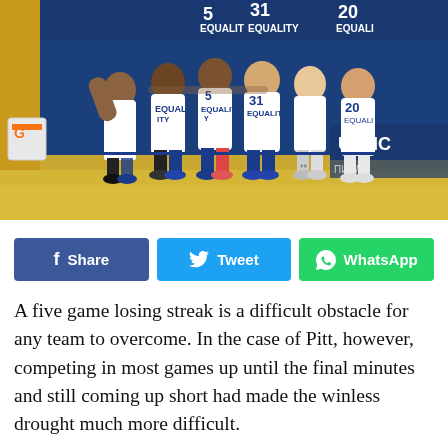[Figure (photo): Basketball players in white uniforms with 'EQUALITY' text and numbers 5, 31, 20 huddling on a court. Blue arena background with UPMC signage visible. Gatorade cooler on the left.]
[Figure (infographic): Social sharing buttons row: Facebook Share (dark blue), Tweet (light blue with Twitter bird icon), WhatsApp (green with WhatsApp icon)]
A five game losing streak is a difficult obstacle for any team to overcome. In the case of Pitt, however, competing in most games up until the final minutes and still coming up short had made the winless drought much more difficult.